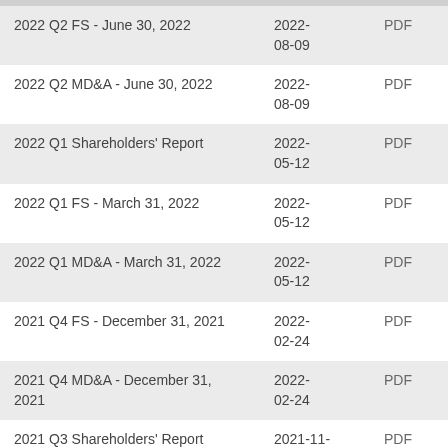| Document | Date | Type |
| --- | --- | --- |
| 2022 Q2 FS - June 30, 2022 | 2022-08-09 | PDF |
| 2022 Q2 MD&A - June 30, 2022 | 2022-08-09 | PDF |
| 2022 Q1 Shareholders' Report | 2022-05-12 | PDF |
| 2022 Q1 FS - March 31, 2022 | 2022-05-12 | PDF |
| 2022 Q1 MD&A - March 31, 2022 | 2022-05-12 | PDF |
| 2021 Q4 FS - December 31, 2021 | 2022-02-24 | PDF |
| 2021 Q4 MD&A - December 31, 2021 | 2022-02-24 | PDF |
| 2021 Q3 Shareholders' Report | 2021-11-04 | PDF |
| 2021 Q3 MD&A - Sept. 30, 2021 | 2021-11-04 | PDF |